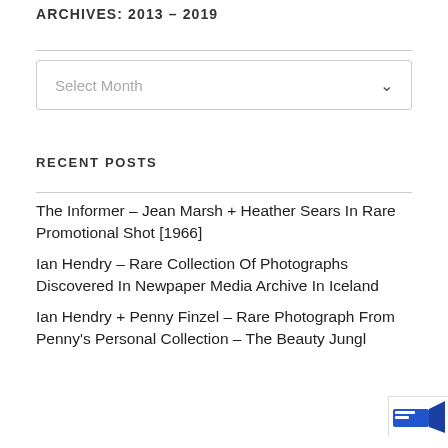ARCHIVES: 2013 – 2019
[Figure (other): Select Month dropdown widget]
RECENT POSTS
The Informer – Jean Marsh + Heather Sears In Rare Promotional Shot [1966]
Ian Hendry – Rare Collection Of Photographs Discovered In Newpaper Media Archive In Iceland
Ian Hendry + Penny Finzel – Rare Photograph From Penny's Personal Collection – The Beauty Jungl